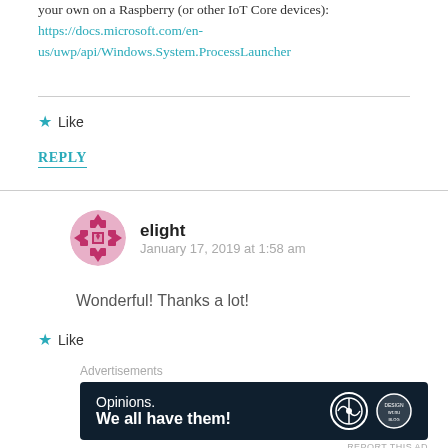your own on a Raspberry (or other IoT Core devices): https://docs.microsoft.com/en-us/uwp/api/Windows.System.ProcessLauncher
Like
REPLY
elight
January 17, 2019 at 1:58 am
Wonderful! Thanks a lot!
Like
[Figure (infographic): Advertisement banner with dark navy background. Text reads 'Opinions. We all have them!' with WordPress logo and another circular logo on the right.]